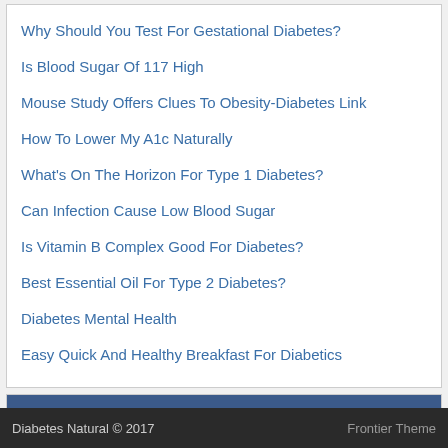Why Should You Test For Gestational Diabetes?
Is Blood Sugar Of 117 High
Mouse Study Offers Clues To Obesity-Diabetes Link
How To Lower My A1c Naturally
What's On The Horizon For Type 1 Diabetes?
Can Infection Cause Low Blood Sugar
Is Vitamin B Complex Good For Diabetes?
Best Essential Oil For Type 2 Diabetes?
Diabetes Mental Health
Easy Quick And Healthy Breakfast For Diabetics
Archives
Archives  Select Month
Diabetes Natural © 2017    Frontier Theme